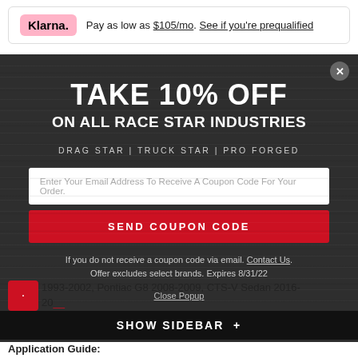Klarna. Pay as low as $105/mo. See if you're prequalified
[Figure (screenshot): Popup modal on dark wood-texture background with '10% OFF on all Race Star Industries' offer, email input, and coupon code button]
TAKE 10% OFF
ON ALL RACE STAR INDUSTRIES
DRAG STAR | TRUCK STAR | PRO FORGED
Enter Your Email Address To Receive A Coupon Code For Your Order.
SEND COUPON CODE
If you do not receive a coupon code via email. Contact Us. Offer excludes select brands. Expires 8/31/22
Close Popup
F 1993-2002, Pontiac G8 2008-2009, CTS-V Sedan 2016-20...
SHOW SIDEBAR +
Application Guide: